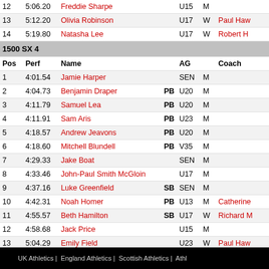| Pos | Perf | Name |  | AG |  | Coach |
| --- | --- | --- | --- | --- | --- | --- |
| 12 | 5:06.20 | Freddie Sharpe |  | U15 | M |  |
| 13 | 5:12.20 | Olivia Robinson |  | U17 | W | Paul Haw... |
| 14 | 5:19.80 | Natasha Lee |  | U17 | W | Robert H... |
1500 SX 4
| Pos | Perf | Name |  | AG |  | Coach |
| --- | --- | --- | --- | --- | --- | --- |
| 1 | 4:01.54 | Jamie Harper |  | SEN | M |  |
| 2 | 4:04.73 | Benjamin Draper | PB | U20 | M |  |
| 3 | 4:11.79 | Samuel Lea | PB | U20 | M |  |
| 4 | 4:11.91 | Sam Aris | PB | U23 | M |  |
| 5 | 4:18.57 | Andrew Jeavons | PB | U20 | M |  |
| 6 | 4:18.60 | Mitchell Blundell | PB | V35 | M |  |
| 7 | 4:29.33 | Jake Boat |  | SEN | M |  |
| 8 | 4:33.46 | John-Paul Smith McGloin |  | U17 | M |  |
| 9 | 4:37.16 | Luke Greenfield | SB | SEN | M |  |
| 10 | 4:42.31 | Noah Homer | PB | U13 | M | Catherine... |
| 11 | 4:55.57 | Beth Hamilton | SB | U17 | W | Richard M... |
| 12 | 4:58.68 | Jack Price |  | U15 | M |  |
| 13 | 5:04.29 | Emily Field |  | U23 | W | Paul Haw... |
UK Athletics | England Athletics | Scottish Athletics | Athl...